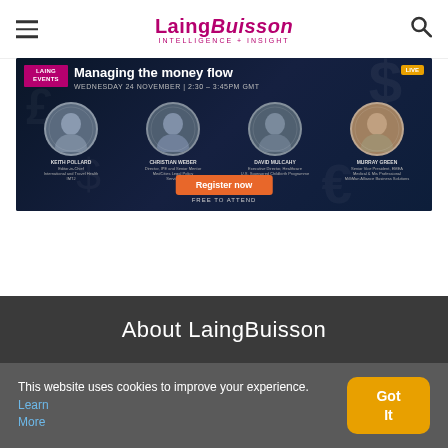LaingBuisson INTELLIGENCE + INSIGHT
[Figure (screenshot): LaingBuisson Events banner: 'Managing the money flow' webinar, Wednesday 24 November 2:30–3:45PM GMT, featuring four speakers with circular headshots. Orange 'Register now' button and 'FREE TO ATTEND' text at bottom.]
About LaingBuisson
This website uses cookies to improve your experience. Learn More
Got It